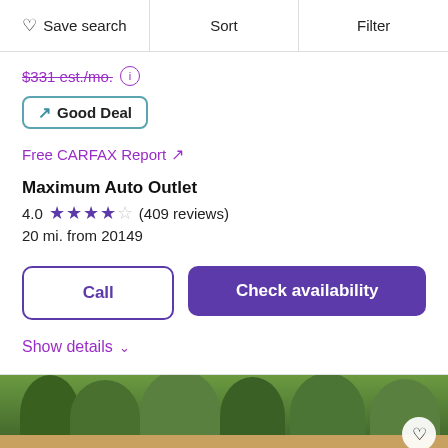♡ Save search  Sort  Filter
$331 est./mo.
↗ Good Deal
Free CARFAX Report ↗
Maximum Auto Outlet
4.0 ★★★★☆ (409 reviews)
20 mi. from 20149
Call
Check availability
Show details ∨
[Figure (photo): Photo of a car dealership exterior with trees and wooden fence in background]